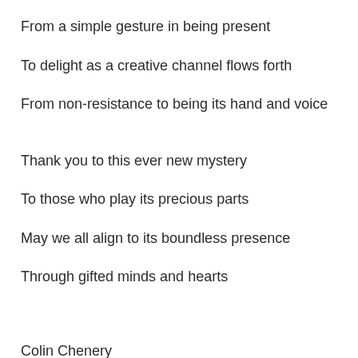From a simple gesture in being present
To delight as a creative channel flows forth
From non-resistance to being its hand and voice
Thank you to this ever new mystery
To those who play its precious parts
May we all align to its boundless presence
Through gifted minds and hearts
Colin Chenery